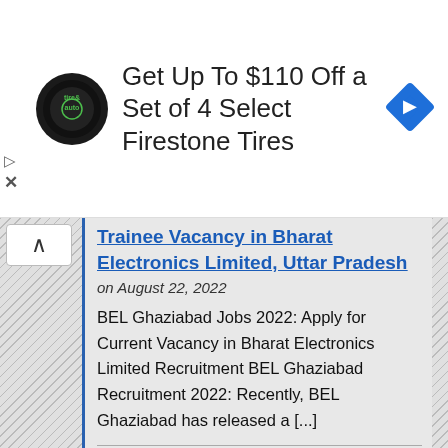[Figure (advertisement): Tire & Auto logo circle, ad text 'Get Up To $110 Off a Set of 4 Select Firestone Tires', blue diamond navigation icon]
Trainee Vacancy in Bharat Electronics Limited, Uttar Pradesh
on August 22, 2022
BEL Ghaziabad Jobs 2022: Apply for Current Vacancy in Bharat Electronics Limited Recruitment BEL Ghaziabad Recruitment 2022: Recently, BEL Ghaziabad has released a [...]
MORTH Recruitment 2022 – Apply for Secretary/Director/Deputy